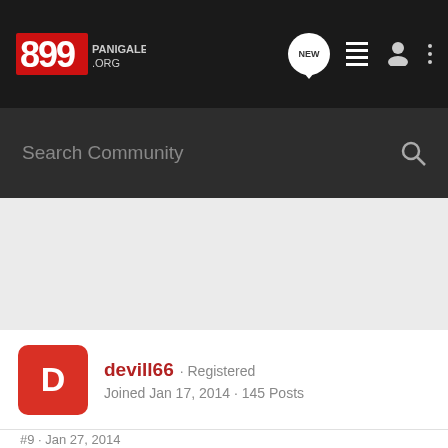[Figure (logo): 899 Panigale .org forum logo in red and white on dark background]
Search Community
devill66 · Registered
Joined Jan 17, 2014 · 145 Posts
#9 · Jan 27, 2014
Gaerne GP1 is another great option....